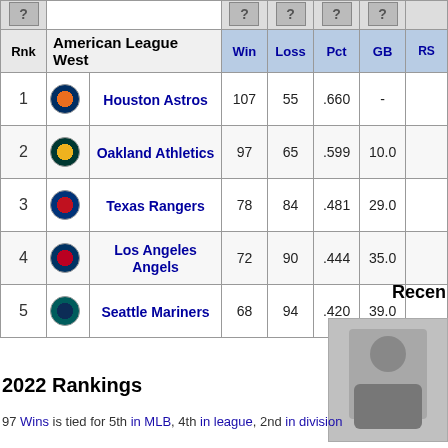| Rnk | Team | Win | Loss | Pct | GB | RS |
| --- | --- | --- | --- | --- | --- | --- |
| 1 | Houston Astros | 107 | 55 | .660 | - |  |
| 2 | Oakland Athletics | 97 | 65 | .599 | 10.0 |  |
| 3 | Texas Rangers | 78 | 84 | .481 | 29.0 |  |
| 4 | Los Angeles Angels | 72 | 90 | .444 | 35.0 |  |
| 5 | Seattle Mariners | 68 | 94 | .420 | 39.0 |  |
Recent
[Figure (photo): Baseball player photo]
2022 Rankings
97 Wins is tied for 5th in MLB, 4th in league, 2nd in division